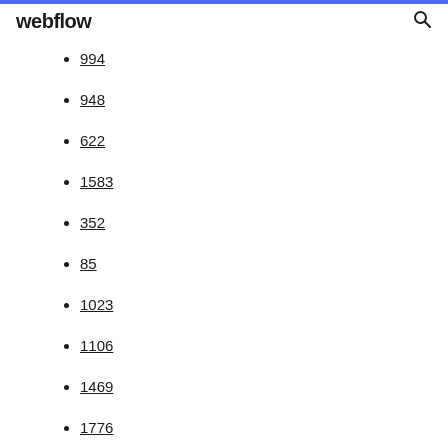webflow
994
948
622
1583
352
85
1023
1106
1469
1776
1589
1888
1739